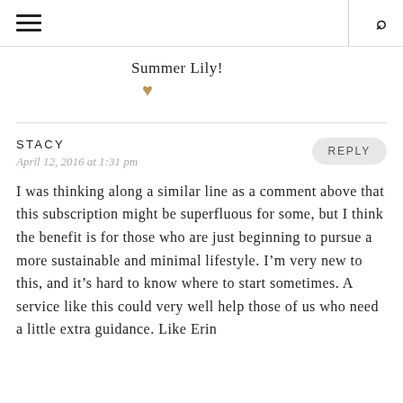☰  🔍
Summer Lily! ♥
STACY
April 12, 2016 at 1:31 pm
I was thinking along a similar line as a comment above that this subscription might be superfluous for some, but I think the benefit is for those who are just beginning to pursue a more sustainable and minimal lifestyle. I'm very new to this, and it's hard to know where to start sometimes. A service like this could very well help those of us who need a little extra guidance. Like Erin